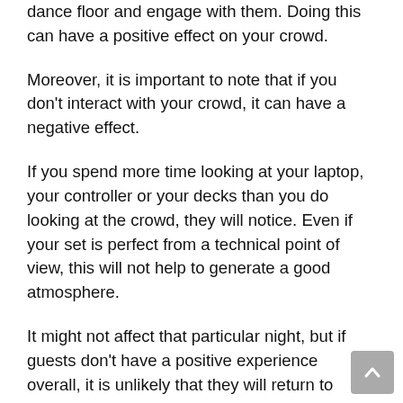dance floor and engage with them. Doing this can have a positive effect on your crowd.
Moreover, it is important to note that if you don't interact with your crowd, it can have a negative effect.
If you spend more time looking at your laptop, your controller or your decks than you do looking at the crowd, they will notice. Even if your set is perfect from a technical point of view, this will not help to generate a good atmosphere.
It might not affect that particular night, but if guests don't have a positive experience overall, it is unlikely that they will return to